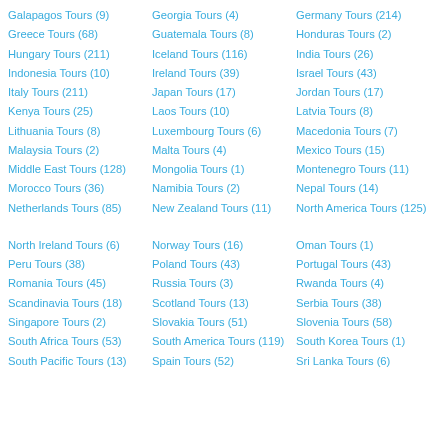Galapagos Tours (9)
Greece Tours (68)
Hungary Tours (211)
Indonesia Tours (10)
Italy Tours (211)
Kenya Tours (25)
Lithuania Tours (8)
Malaysia Tours (2)
Middle East Tours (128)
Morocco Tours (36)
Netherlands Tours (85)
North Ireland Tours (6)
Peru Tours (38)
Romania Tours (45)
Scandinavia Tours (18)
Singapore Tours (2)
South Africa Tours (53)
South Pacific Tours (13)
Georgia Tours (4)
Guatemala Tours (8)
Iceland Tours (116)
Ireland Tours (39)
Japan Tours (17)
Laos Tours (10)
Luxembourg Tours (6)
Malta Tours (4)
Mongolia Tours (1)
Namibia Tours (2)
New Zealand Tours (11)
Norway Tours (16)
Poland Tours (43)
Russia Tours (3)
Scotland Tours (13)
Slovakia Tours (51)
South America Tours (119)
Spain Tours (52)
Germany Tours (214)
Honduras Tours (2)
India Tours (26)
Israel Tours (43)
Jordan Tours (17)
Latvia Tours (8)
Macedonia Tours (7)
Mexico Tours (15)
Montenegro Tours (11)
Nepal Tours (14)
North America Tours (125)
Oman Tours (1)
Portugal Tours (43)
Rwanda Tours (4)
Serbia Tours (38)
Slovenia Tours (58)
South Korea Tours (1)
Sri Lanka Tours (6)